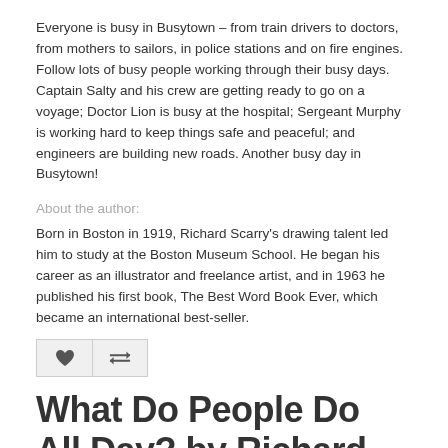Everyone is busy in Busytown – from train drivers to doctors, from mothers to sailors, in police stations and on fire engines. Follow lots of busy people working through their busy days.
Captain Salty and his crew are getting ready to go on a voyage; Doctor Lion is busy at the hospital; Sergeant Murphy is working hard to keep things safe and peaceful; and engineers are building new roads. Another busy day in Busytown!
About the author:
Born in Boston in 1919, Richard Scarry's drawing talent led him to study at the Boston Museum School. He began his career as an illustrator and freelance artist, and in 1963 he published his first book, The Best Word Book Ever, which became an international best-seller.
[Figure (other): Two buttons: a heart/favourite button and a compare button with double arrow icon]
What Do People Do All Day? by Richard Scarry
Product Code: 978-0394818237